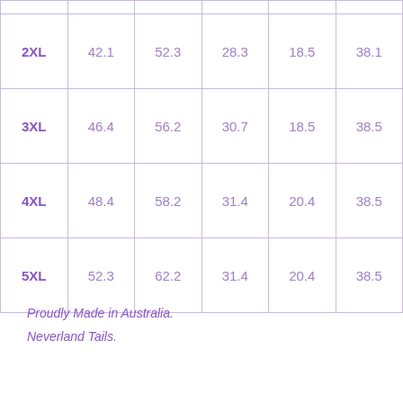| 2XL | 42.1 | 52.3 | 28.3 | 18.5 | 38.1 |
| 3XL | 46.4 | 56.2 | 30.7 | 18.5 | 38.5 |
| 4XL | 48.4 | 58.2 | 31.4 | 20.4 | 38.5 |
| 5XL | 52.3 | 62.2 | 31.4 | 20.4 | 38.5 |
Proudly Made in Australia.
Neverland Tails.